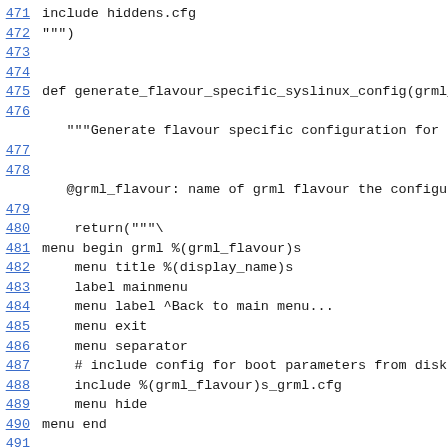471 include hiddens.cfg
472 """)
473
474
475 def generate_flavour_specific_syslinux_config(grml_flavour):
476
    """Generate flavour specific configuration for use in syslinux.cfg
477
478
    @grml_flavour: name of grml flavour the configuration should be
479
480     return("""\
481 menu begin grml %(grml_flavour)s
482     menu title %(display_name)s
483     label mainmenu
484     menu label ^Back to main menu...
485     menu exit
486     menu separator
487     # include config for boot parameters from disk
488     include %(grml_flavour)s_grml.cfg
489     menu hide
490 menu end
491
""" % {'grml_flavour': grml_flavour, 'display_name': get_flavour_file
492